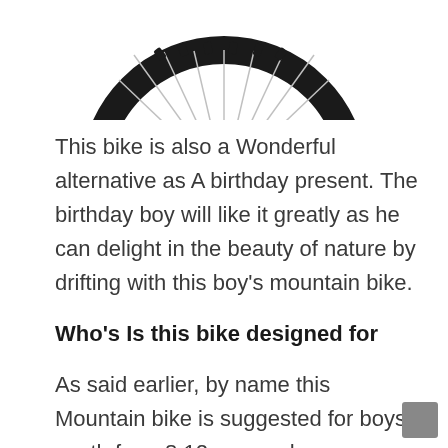[Figure (photo): Partial view of a mountain bike tire/wheel, showing the tread and spokes, cropped at the top of the page.]
This bike is also a Wonderful alternative as A birthday present. The birthday boy will like it greatly as he can delight in the beauty of nature by drifting with this boy's mountain bike.
Who's Is this bike designed for
As said earlier, by name this Mountain bike is suggested for boys youth from 8 12 years who possess great enthusiasm for biking but can not ride 26″ bike because of their height problem. 24″